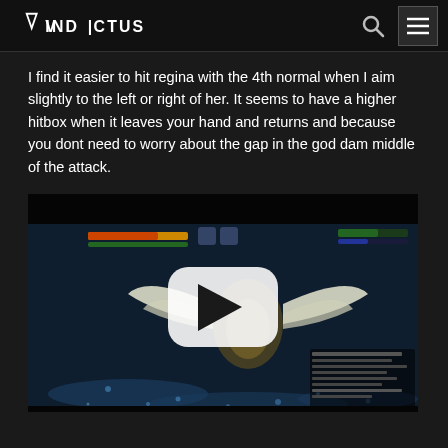VINDICTUS
I find it easier to hit regina with the 4th normal when I aim slightly to the left or right of her. It seems to have a higher hitbox when it leaves your hand and returns and because you dont need to worry about the gap in the god dam middle of the attack.
[Figure (screenshot): Video thumbnail of a Vindictus gameplay screenshot showing a boss fight scene with a large winged creature, with a YouTube-style play button overlay in the center. The scene shows a dark blue dungeon environment with HUD elements and damage numbers visible.]